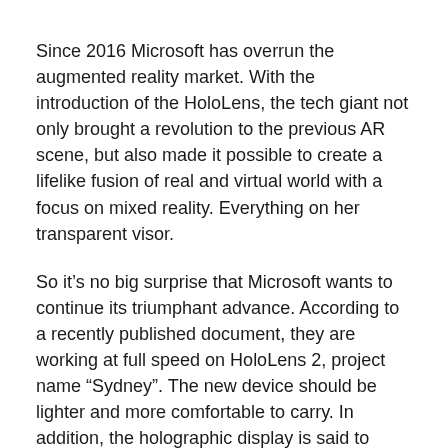Since 2016 Microsoft has overrun the augmented reality market. With the introduction of the HoloLens, the tech giant not only brought a revolution to the previous AR scene, but also made it possible to create a lifelike fusion of real and virtual world with a focus on mixed reality. Everything on her transparent visor.
So it's no big surprise that Microsoft wants to continue its triumphant advance. According to a recently published document, they are working at full speed on HoloLens 2, project name “Sydney”. The new device should be lighter and more comfortable to carry. In addition, the holographic display is said to have been significantly improved. Other reports say HoloLens 2 has the latest Kinect sensor and its own artificial intelligence chip. Both provide improved optics